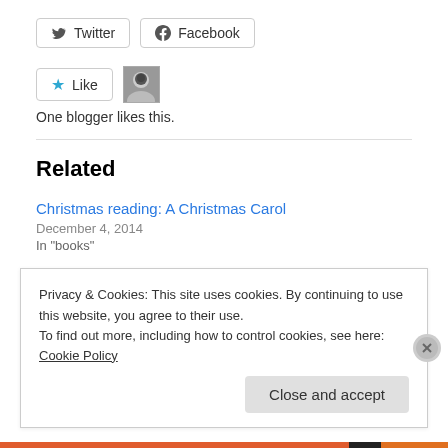[Figure (other): Twitter and Facebook share buttons]
[Figure (other): Like button with star icon and a small blogger avatar photo]
One blogger likes this.
Related
Christmas reading: A Christmas Carol
December 4, 2014
In "books"
Happy Birthday, JRR Tolkien & Isaac Asimov!
January 3, 2015
Privacy & Cookies: This site uses cookies. By continuing to use this website, you agree to their use.
To find out more, including how to control cookies, see here: Cookie Policy
Close and accept